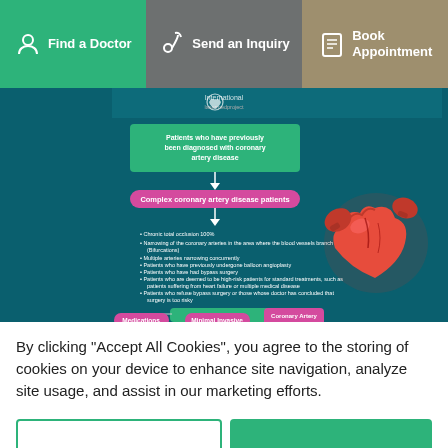[Figure (screenshot): Navigation bar with three sections: 'Find a Doctor' (green), 'Send an Inquiry' (gray), 'Book Appointment' (tan)]
[Figure (infographic): Medical infographic about coronary artery disease patients showing a flowchart with: 'Patients who have previously been diagnosed with coronary artery disease' -> 'Complex coronary artery disease patients' -> bullet list of conditions -> Treatment options (Medications, Minimal Invasive, Coronary Artery Bypass Surgery). A 3D heart with boxing gloves is shown on the right.]
By clicking “Accept All Cookies”, you agree to the storing of cookies on your device to enhance site navigation, analyze site usage, and assist in our marketing efforts.